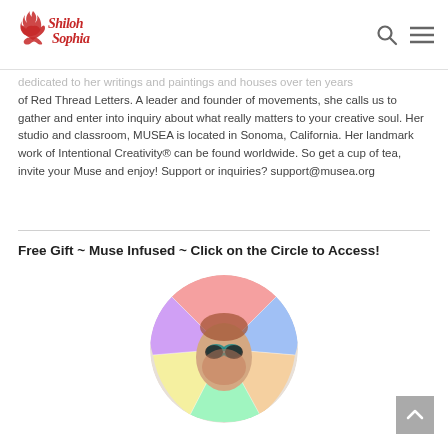Shiloh Sophia [logo]
dedicated to her writings and paintings and houses over ten years of Red Thread Letters. A leader and founder of movements, she calls us to gather and enter into inquiry about what really matters to your creative soul. Her studio and classroom, MUSEA is located in Sonoma, California. Her landmark work of Intentional Creativity® can be found worldwide. So get a cup of tea, invite your Muse and enjoy! Support or inquiries? support@musea.org
Free Gift ~ Muse Infused ~ Click on the Circle to Access!
[Figure (photo): Circular cropped photo of a woman with colorful artistic face paint and a large colorful fan/costume behind her]